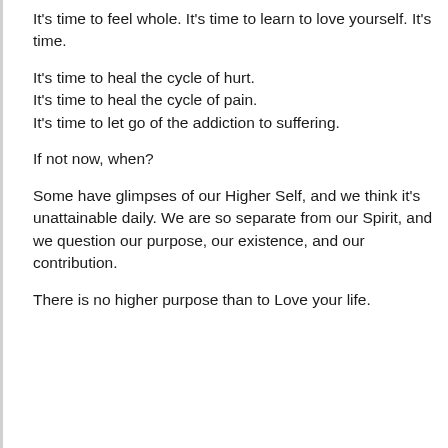It's time to feel whole. It's time to learn to love yourself. It's time.
It's time to heal the cycle of hurt.
It's time to heal the cycle of pain.
It's time to let go of the addiction to suffering.
If not now, when?
Some have glimpses of our Higher Self, and we think it's unattainable daily. We are so separate from our Spirit, and we question our purpose, our existence, and our contribution.
There is no higher purpose than to Love your life.